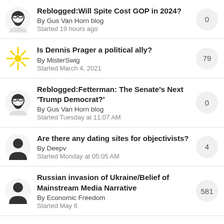Reblogged:Will Spite Cost GOP in 2024? By Gus Van Horn blog Started 19 hours ago — replies: 0
Is Dennis Prager a political ally? By MisterSwig Started March 4, 2021 — replies: 79
Reblogged:Fetterman: The Senate's Next 'Trump Democrat?' By Gus Van Horn blog Started Tuesday at 11:07 AM — replies: 0
Are there any dating sites for objectivists? By Deepv Started Monday at 05:05 AM — replies: 4
Russian invasion of Ukraine/Belief of Mainstream Media Narrative By Economic Freedom Started May 6 — replies: 581